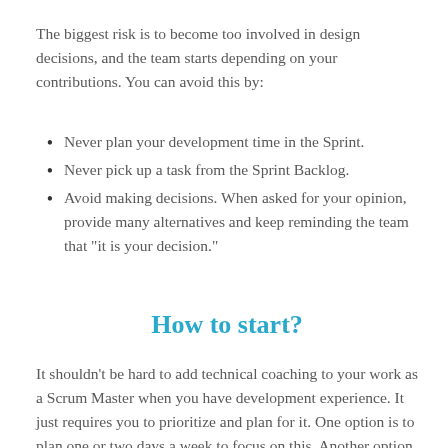The biggest risk is to become too involved in design decisions, and the team starts depending on your contributions. You can avoid this by:
Never plan your development time in the Sprint.
Never pick up a task from the Sprint Backlog.
Avoid making decisions. When asked for your opinion, provide many alternatives and keep reminding the team that “it is your decision.”
How to start?
It shouldn’t be hard to add technical coaching to your work as a Scrum Master when you have development experience. It just requires you to prioritize and plan for it. One option is to plan one or two days a week to focus on this. Another option is switching right to a